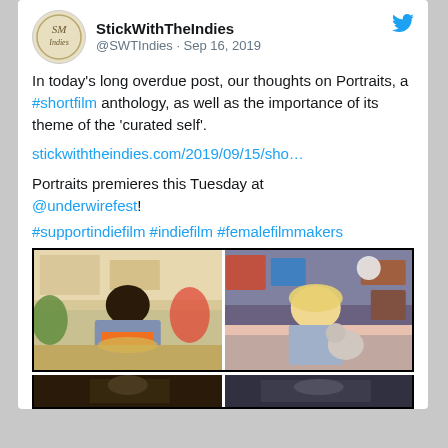StickWithTheIndies @SWTIndies · Sep 16, 2019
In today's long overdue post, our thoughts on Portraits, a #shortfilm anthology, as well as the importance of its theme of the 'curated self'.
stickwiththeindies.com/2019/09/15/sho…
Portraits premieres this Tuesday at @underwirefest!
#supportindiefilm #indiefilm #femalefilmmakers
[Figure (photo): Two film stills side by side: left shows a Black woman in a kitchen wearing an orange top and grey jacket; right shows a blonde woman sitting on a bed holding a stuffed animal.]
[Figure (photo): Bottom strip of two more film stills, partially visible.]